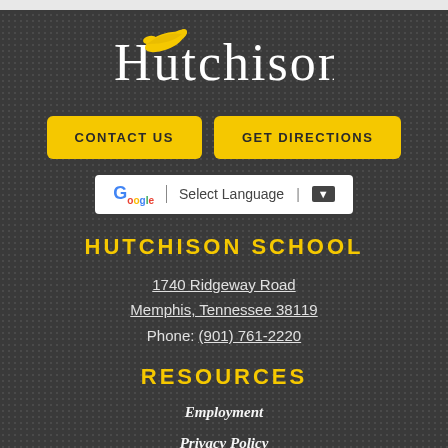[Figure (logo): Hutchison School logo with white serif text and decorative yellow bird/feather over the H]
CONTACT US
GET DIRECTIONS
[Figure (other): Google Translate selector widget showing G logo, 'Select Language' text and dropdown arrow]
HUTCHISON SCHOOL
1740 Ridgeway Road
Memphis, Tennessee 38119
Phone: (901) 761-2220
RESOURCES
Employment
Privacy Policy